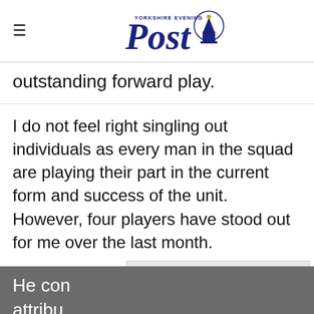Post (Yorkshire Evening Post logo)
outstanding forward play.
I do not feel right singling out individuals as every man in the squad are playing their part in the current form and success of the unit. However, four players have stood out for me over the last month.
Sam G
netmin
[Figure (other): Advertisement placeholder box with label 'Advertisement']
He con
attribu